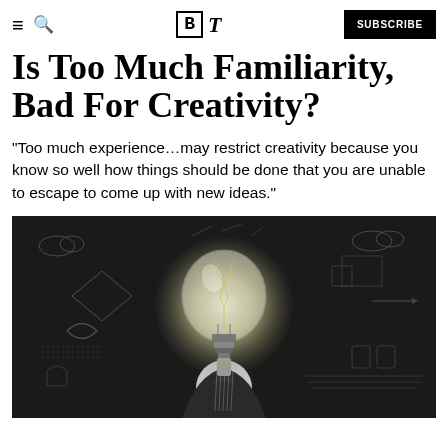BT | SUBSCRIBE
Is Too Much Familiarity Bad For Creativity?
“Too much experience…may restrict creativity because you know so well how things should be done that you are unable to escape to come up with new ideas.”
[Figure (photo): A person wearing a suit with a glowing light bulb in place of their head, standing in front of a dark chalkboard filled with hand-drawn sketches and diagrams representing ideas and creativity.]